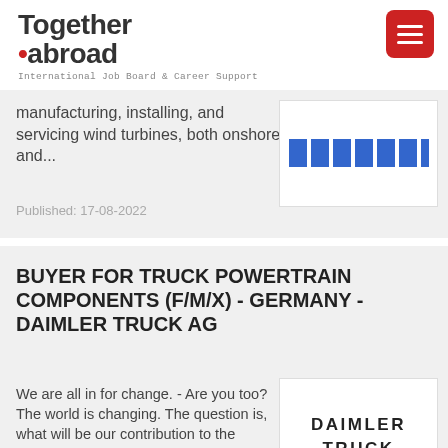Together .abroad — International Job Board & Career Support
manufacturing, installing, and servicing wind turbines, both onshore and...
Published: 17-08-2022
BUYER FOR TRUCK POWERTRAIN COMPONENTS (F/M/X) - GERMANY - DAIMLER TRUCK AG
We are all in for change. - Are you too? The world is changing. The question is, what will be our contribution to the outcome? At